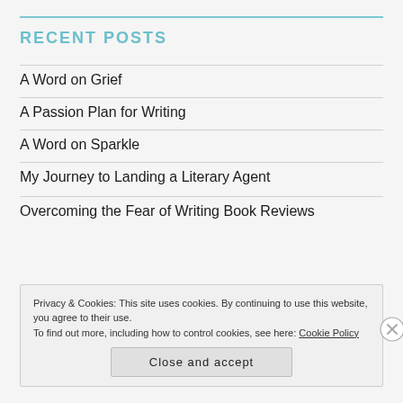RECENT POSTS
A Word on Grief
A Passion Plan for Writing
A Word on Sparkle
My Journey to Landing a Literary Agent
Overcoming the Fear of Writing Book Reviews
Privacy & Cookies: This site uses cookies. By continuing to use this website, you agree to their use.
To find out more, including how to control cookies, see here: Cookie Policy
Close and accept